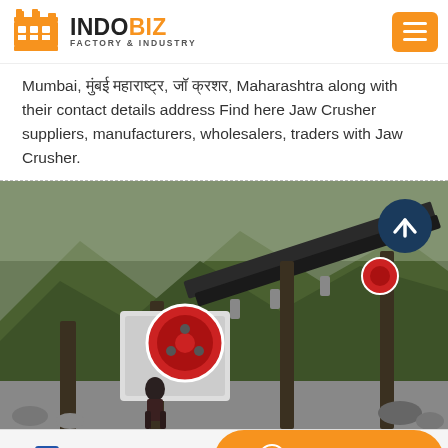INDOBIZ FACTORY & INDUSTRY
Mumbai, मुंबई महाराष्ट्र, जॉ क्रशर, Maharashtra along with their contact details address Find here Jaw Crusher suppliers, manufacturers, wholesalers, traders with Jaw Crusher.
[Figure (photo): Photo of a jaw crusher machine at a quarry/mining site with green mountains in the background. A worker is visible near the machine. Large conveyor belts and industrial crushing equipment are shown.]
Send Message | Online Service